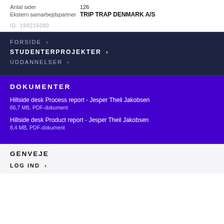Antal sider   126
Ekstern samarbejdspartner   TRIP TRAP DENMARK A/S
ID: 198215090
FORSIDE ›
STUDENTERPROJEKTER ›
UDDANNELSER ›
DOKUMENTER
Hillside desk Process report - Jesper Theil Jakobsen
66,7 MB, PDF-dokument
Hillside desk Product report - Jesper Theil Jakobsen
8,4 MB, PDF-dokument
GENVEJE
LOG IND ›